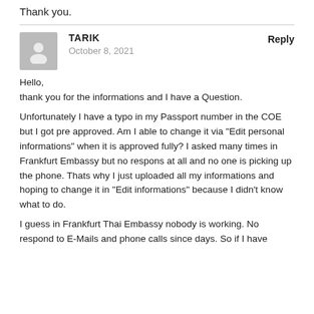Thank you.
TARIK
October 8, 2021
Reply
Hello,
thank you for the informations and I have a Question.

Unfortunately I have a typo in my Passport number in the COE but I got pre approved. Am I able to change it via “Edit personal informations” when it is approved fully? I asked many times in Frankfurt Embassy but no respons at all and no one is picking up the phone. Thats why I just uploaded all my informations and hoping to change it in “Edit informations” because I didn’t know what to do.

I guess in Frankfurt Thai Embassy nobody is working. No respond to E-Mails and phone calls since days. So if I have